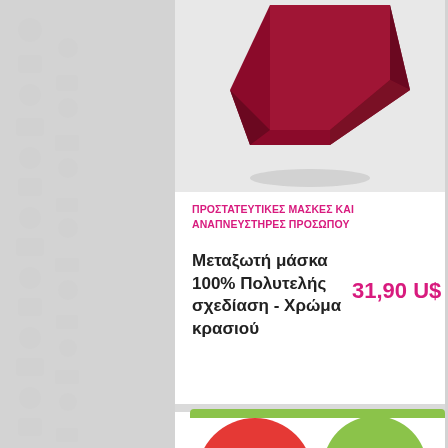[Figure (photo): Red/dark red 3D object (protective mask or object) on light grey background, cropped at top]
ΠΡΟΣΤΑΤΕΥΤΙΚΕΣ ΜΑΣΚΕΣ ΚΑΙ ΑΝΑΠΝΕΥΣΤΗΡΕΣ ΠΡΟΣΩΠΟΥ
Μεταξωτή μάσκα 100% Πολυτελής σχεδίαση - Χρώμα κρασιού
31,90 U$
ΑΓΟΡΑ
[Figure (infographic): Red speech bubble badge with '26 %' and strikethrough price '42,90 U$'; Green speech bubble badge with 'NEW' text]
[Figure (photo): Dark product partially visible at bottom of page]